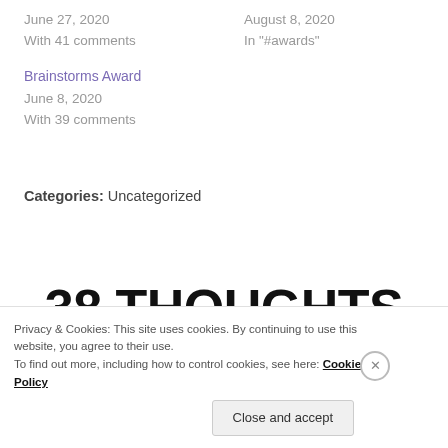June 27, 2020
With 41 comments
August 8, 2020
In "#awards"
Brainstorms Award
June 8, 2020
With 39 comments
Categories: Uncategorized
38 THOUGHTS ON “MY TOP 10 FAVOURITE FEELINGS
Privacy & Cookies: This site uses cookies. By continuing to use this website, you agree to their use.
To find out more, including how to control cookies, see here: Cookie Policy
Close and accept